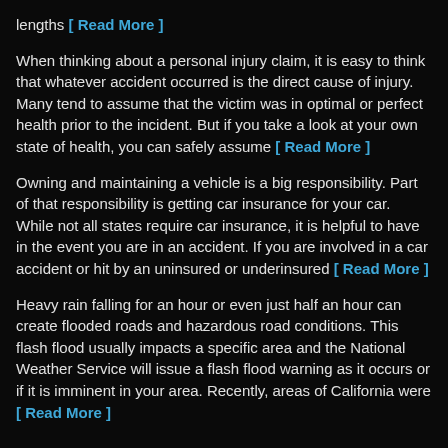lengths [ Read More ]
When thinking about a personal injury claim, it is easy to think that whatever accident occurred is the direct cause of injury. Many tend to assume that the victim was in optimal or perfect health prior to the incident. But if you take a look at your own state of health, you can safely assume [ Read More ]
Owning and maintaining a vehicle is a big responsibility. Part of that responsibility is getting car insurance for your car. While not all states require car insurance, it is helpful to have in the event you are in an accident. If you are involved in a car accident or hit by an uninsured or underinsured [ Read More ]
Heavy rain falling for an hour or even just half an hour can create flooded roads and hazardous road conditions. This flash flood usually impacts a specific area and the National Weather Service will issue a flash flood warning as it occurs or if it is imminent in your area. Recently, areas of California were [ Read More ]